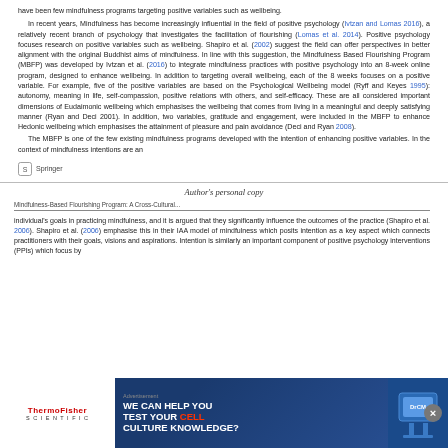have been few mindfulness programs targeting positive variables such as wellbeing. In recent years, Mindfulness has become increasingly influential in the field of positive psychology (Ivtzan and Lomas 2016), a relatively recent branch of psychology that investigates the facilitation of flourishing (Lomas et al. 2014). Positive psychology focuses research on positive variables such as wellbeing. Shapiro et al. (2002) suggest the field can offer perspectives in better alignment with the original Buddhist aims of mindfulness. In line with this suggestion, the Mindfulness Based Flourishing Program (MBFP) was developed by Ivtzan et al. (2016) to integrate mindfulness practices with positive psychology into an 8-week online program, designed to enhance wellbeing. In addition to targeting overall wellbeing, each of the 8 weeks focuses on a positive variable. For example, five of the positive variables are based on the Psychological Wellbeing model (Ryff and Keyes 1995): autonomy, meaning in life, self-compassion, positive relations with others, and self-efficacy. These are all considered important dimensions of Eudaimonic wellbeing which emphasises the wellbeing that comes from living in a meaningful and deeply satisfying manner (Ryan and Deci 2001). In addition, two variables, gratitude and engagement, were included in the MBFP to enhance Hedonic wellbeing which emphasises the attainment of pleasure and pain avoidance (Deci and Ryan 2008). The MBFP is one of the few existing mindfulness programs developed with the intention of enhancing positive variables. In the context of mindfulness intentions are an
[Figure (logo): Springer logo]
Author's personal copy
Mindfulness-Based Flourishing Program: A Cross-Cultural...
individual's goals in practicing mindfulness, and it is argued that they significantly influence the outcomes of the practice (Shapiro et al. 2006). Shapiro et al. (2006) emphasise this in their IAA model of mindfulness which posits intention as a key aspect which connects practitioners with their goals, visions and aspirations. Intention is similarly an important component of positive psychology interventions (PPIs) which focus by
[Figure (infographic): ThermoFisher Scientific advertisement banner: WE CAN HELP YOU TEST YOUR CELL CULTURE KNOWLEDGE?]